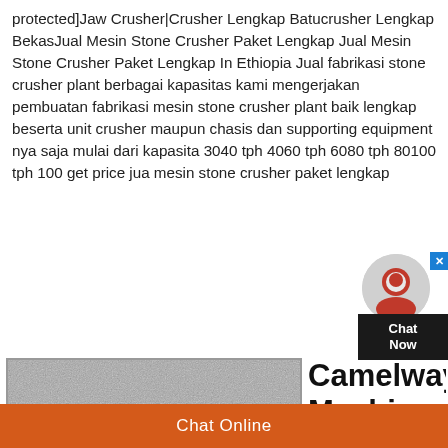protected]Jaw Crusher|Crusher Lengkap Batucrusher Lengkap BekasJual Mesin Stone Crusher Paket Lengkap Jual Mesin Stone Crusher Paket Lengkap In Ethiopia Jual fabrikasi stone crusher plant berbagai kapasitas kami mengerjakan pembuatan fabrikasi mesin stone crusher plant baik lengkap beserta unit crusher maupun chasis dan supporting equipment nya saja mulai dari kapasita 3040 tph 4060 tph 6080 tph 80100 tph 100 get price jua mesin stone crusher paket lengkap
[Figure (logo): MineVik logo on grey textured background with two triangles (blue and orange/brown)]
Camelway Machinery: Batching Plant, Pangaduk
Chat Online